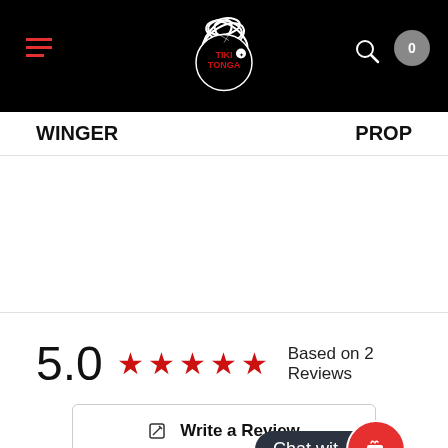[Figure (logo): Tiki Tonga logo — white illustrated design with 'TIKI TONGA' text in red on black background header]
WINGER
PROP
5.0  ★★★★★  Based on 2 Reviews
✎  Write a Review
Chat wit
Most Recent